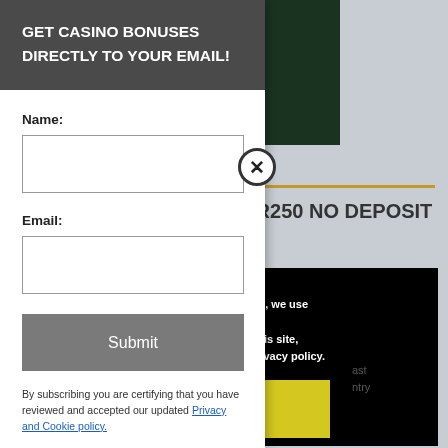[Figure (screenshot): Casino website screenshot showing a tiger logo on dark green background, partially visible behind a popup modal]
GET CASINO BONUSES DIRECTLY TO YOUR EMAIL!
Name:
Email:
Submit
By subscribing you are certifying that you have reviewed and accepted our updated Privacy and Cookie policy.
VES R250 NO DEPOSIT
berience, we use
Using this site,
kie & privacy policy.